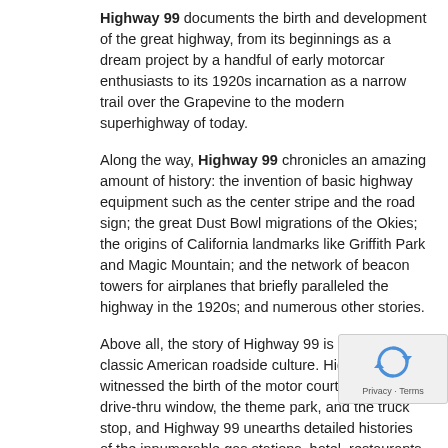Highway 99 documents the birth and development of the great highway, from its beginnings as a dream project by a handful of early motorcar enthusiasts to its 1920s incarnation as a narrow trail over the Grapevine to the modern superhighway of today.
Along the way, Highway 99 chronicles an amazing amount of history: the invention of basic highway equipment such as the center stripe and the road sign; the great Dust Bowl migrations of the Okies; the origins of California landmarks like Griffith Park and Magic Mountain; and the network of beacon towers for airplanes that briefly paralleled the highway in the 1920s; and numerous other stories.
Above all, the story of Highway 99 is the story of classic American roadside culture. Highway 99 witnessed the birth of the motor court motel, the drive-thru window, the theme park, and the truck stop, and Highway 99 unearths detailed histories of the innumerable gas stations, hotel, restaurants, amusements, and whole communities that developed to cater to the motorist.
From the foundations of America's fast-food culture to the birth of the Bakersfield Sound, the history of California has happened around Highway 99, and Highway 99 brilliantly depicts that history.
About the Author